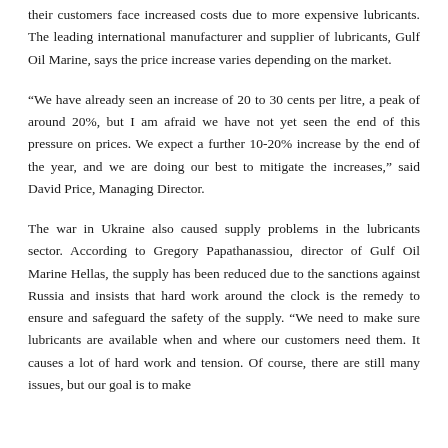their customers face increased costs due to more expensive lubricants. The leading international manufacturer and supplier of lubricants, Gulf Oil Marine, says the price increase varies depending on the market.
“We have already seen an increase of 20 to 30 cents per litre, a peak of around 20%, but I am afraid we have not yet seen the end of this pressure on prices. We expect a further 10-20% increase by the end of the year, and we are doing our best to mitigate the increases,” said David Price, Managing Director.
The war in Ukraine also caused supply problems in the lubricants sector. According to Gregory Papathanassiou, director of Gulf Oil Marine Hellas, the supply has been reduced due to the sanctions against Russia and insists that hard work around the clock is the remedy to ensure and safeguard the safety of the supply. “We need to make sure lubricants are available when and where our customers need them. It causes a lot of hard work and tension. Of course, there are still many issues, but our goal is to make